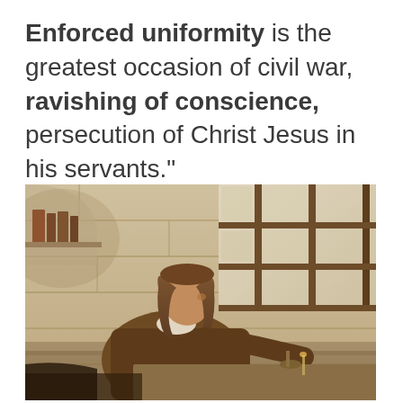Enforced uniformity is the greatest occasion of civil war, ravishing of conscience, persecution of Christ Jesus in his servants."
[Figure (illustration): Oil painting of a man with long brown hair seated at a desk near a barred window in a stone room, with books on a shelf in the background, appearing to be writing or contemplating.]